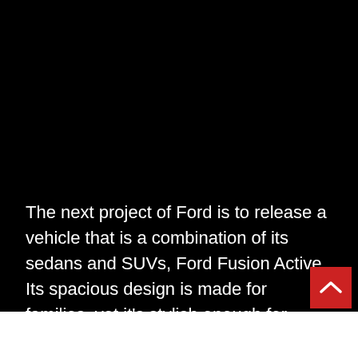[Figure (photo): Large black background area occupying the upper portion of the page]
The next project of Ford is to release a vehicle that is a combination of its sedans and SUVs, Ford Fusion Active. Its spacious design is made for families, yet it's stylish enough for everyone.